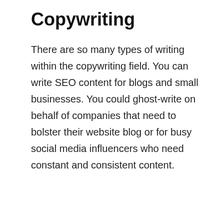Copywriting
There are so many types of writing within the copywriting field. You can write SEO content for blogs and small businesses. You could ghost-write on behalf of companies that need to bolster their website blog or for busy social media influencers who need constant and consistent content.